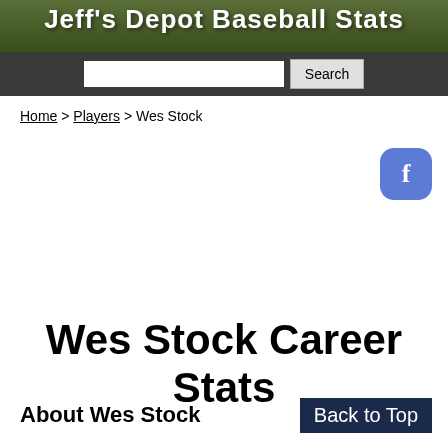Jeff's Depot Baseball Stats
Search
Home > Players > Wes Stock
[Figure (logo): Facebook share button, blue rounded square with white letter f]
Wes Stock Career Stats
About Wes Stock
Back to Top